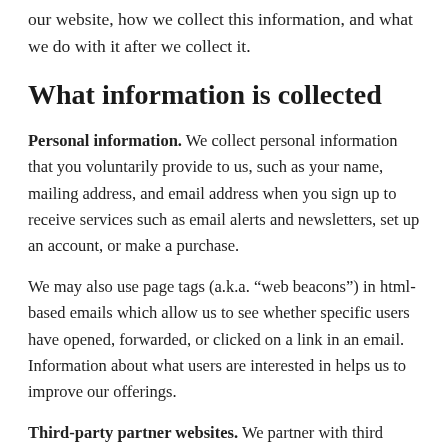our website, how we collect this information, and what we do with it after we collect it.
What information is collected
Personal information. We collect personal information that you voluntarily provide to us, such as your name, mailing address, and email address when you sign up to receive services such as email alerts and newsletters, set up an account, or make a purchase.
We may also use page tags (a.k.a. “web beacons”) in html-based emails which allow us to see whether specific users have opened, forwarded, or clicked on a link in an email. Information about what users are interested in helps us to improve our offerings.
Third-party partner websites. We partner with third parties to collect, store, and process the personal information that you provide when you become a member of SPS or Sigma Pi